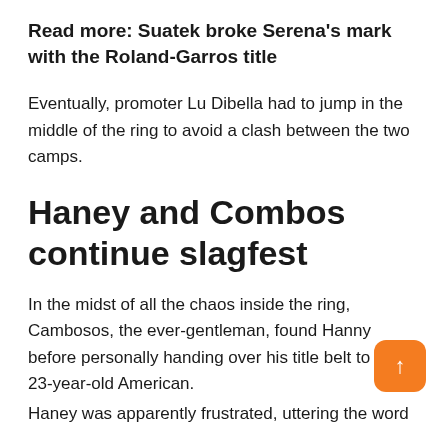Read more: Suatek broke Serena's mark with the Roland-Garros title
Eventually, promoter Lu Dibella had to jump in the middle of the ring to avoid a clash between the two camps.
Haney and Combos continue slagfest
In the midst of all the chaos inside the ring, Cambosos, the ever-gentleman, found Hanny before personally handing over his title belt to the 23-year-old American.
Haney was apparently frustrated, uttering the word